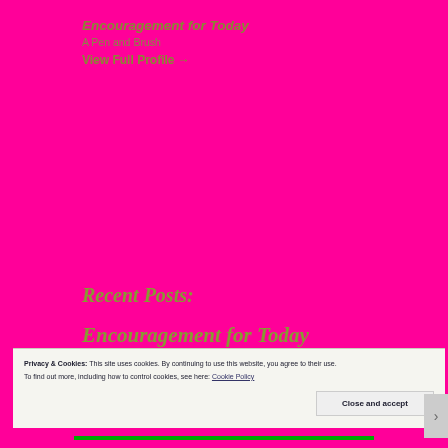Encouragement for Today
A Pen and Brush
View Full Profile →
Recent Posts:
Encouragement for Today
Privacy & Cookies: This site uses cookies. By continuing to use this website, you agree to their use.
To find out more, including how to control cookies, see here: Cookie Policy
Close and accept